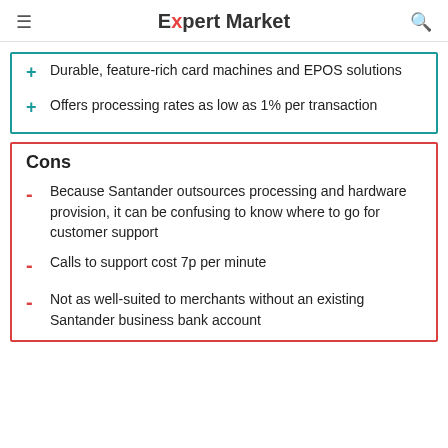Expert Market
Durable, feature-rich card machines and EPOS solutions
Offers processing rates as low as 1% per transaction
Cons
Because Santander outsources processing and hardware provision, it can be confusing to know where to go for customer support
Calls to support cost 7p per minute
Not as well-suited to merchants without an existing Santander business bank account